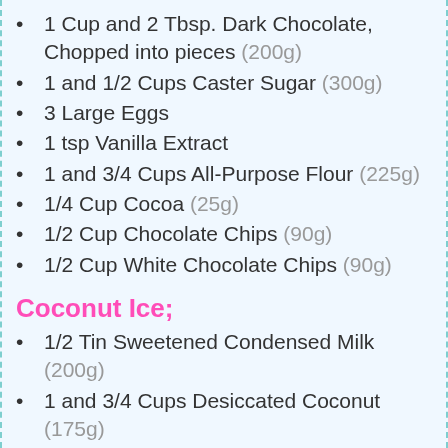1 Cup and 2 Tbsp. Dark Chocolate, Chopped into pieces (200g)
1 and 1/2 Cups Caster Sugar (300g)
3 Large Eggs
1 tsp Vanilla Extract
1 and 3/4 Cups All-Purpose Flour (225g)
1/4 Cup Cocoa (25g)
1/2 Cup Chocolate Chips (90g)
1/2 Cup White Chocolate Chips (90g)
Coconut Ice;
1/2 Tin Sweetened Condensed Milk (200g)
1 and 3/4 Cups Desiccated Coconut (175g)
3/4 Cup Icing Sugar (90g)